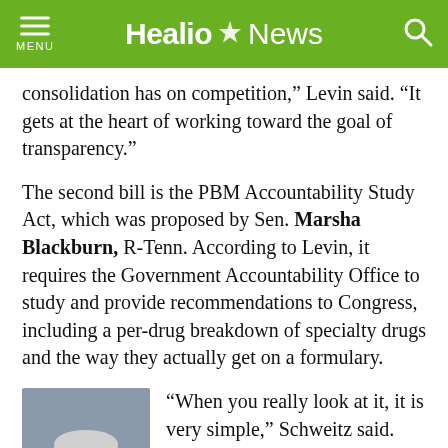Healio News
consolidation has on competition,” Levin said. “It gets at the heart of working toward the goal of transparency.”
The second bill is the PBM Accountability Study Act, which was proposed by Sen. Marsha Blackburn, R-Tenn. According to Levin, it requires the Government Accountability Office to study and provide recommendations to Congress, including a per-drug breakdown of specialty drugs and the way they actually get on a formulary.
[Figure (photo): Headshot of an older man with white/gray hair and beard, wearing glasses and a dark suit]
“When you really look at it, it is very simple,” Schweitz said. “These guys have inserted themselves in between the manufacturer and the patient